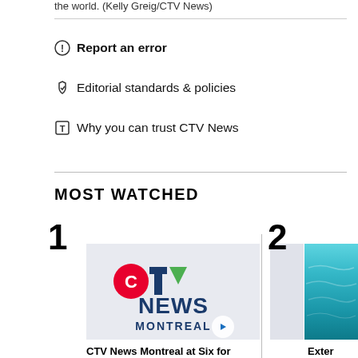the world. (Kelly Greig/CTV News)
Report an error
Editorial standards & policies
Why you can trust CTV News
MOST WATCHED
1
[Figure (logo): CTV News Montreal logo with red C, blue TV text, green arrow, and NEWS MONTREAL text in blue]
2
[Figure (photo): Thumbnail image with blue/teal water color]
CTV News Montreal at Six for
Exter